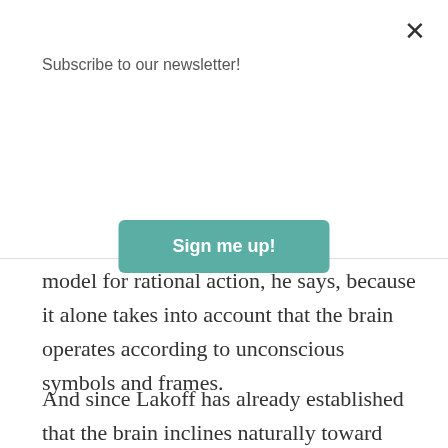Subscribe to our newsletter!
Sign me up!
model for rational action, he says, because it alone takes into account that the brain operates according to unconscious symbols and frames.
And since Lakoff has already established that the brain inclines naturally toward empathy and progressivism, rationality simply equates to what its consciousness, aided by imagery from progressive activists, tells it. However, the true student of the Rational Actor model